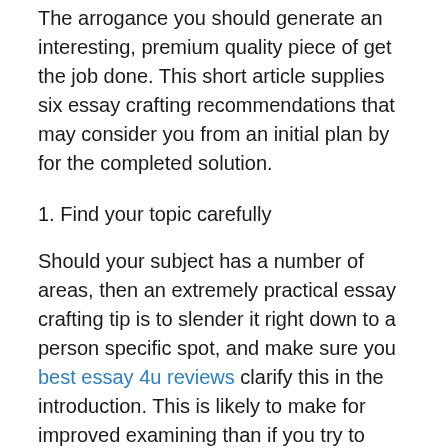The arrogance you should generate an interesting, premium quality piece of get the job done. This short article supplies six essay crafting recommendations that may consider you from an initial plan by for the completed solution.
1. Find your topic carefully
Should your subject has a number of areas, then an extremely practical essay crafting tip is to slender it right down to a person specific spot, and make sure you best essay 4u reviews clarify this in the introduction. This is likely to make for improved examining than if you try to protect everything, and will certainly increase the standard of your function. If you can get to settle on your own